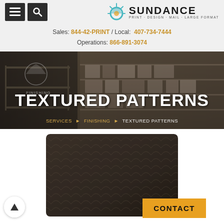Sundance Print · Design · Mail · Large Format — Navigation header with menu and search icons
Sales: 844-42-PRINT / Local: 407-734-7444
Operations: 866-891-3074
[Figure (photo): Warehouse/printing facility interior hero banner with dark overlay showing title TEXTURED PATTERNS and breadcrumb navigation: SERVICES > FINISHING > TEXTURED PATTERNS]
TEXTURED PATTERNS
SERVICES ▶ FINISHING ▶ TEXTURED PATTERNS
[Figure (photo): Close-up photo of dark brown textured material with a repeating scallop/fish-scale pattern, displayed as a rounded-corner card]